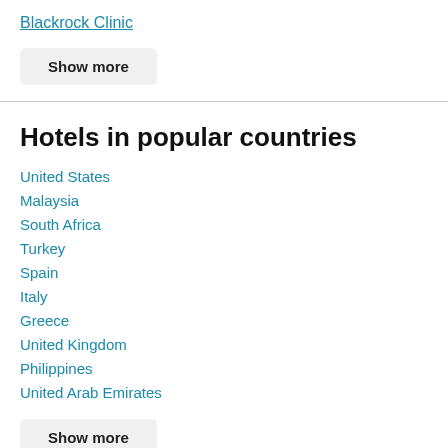Blackrock Clinic
Show more
Hotels in popular countries
United States
Malaysia
South Africa
Turkey
Spain
Italy
Greece
United Kingdom
Philippines
United Arab Emirates
Show more